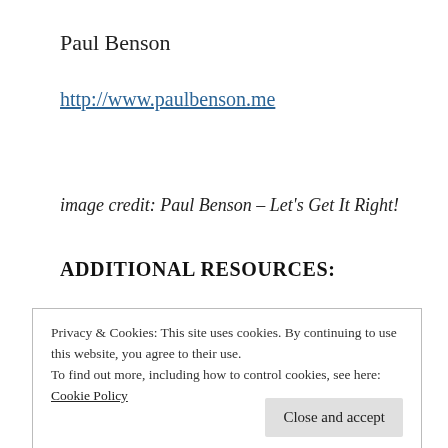Paul Benson
http://www.paulbenson.me
image credit: Paul Benson – Let's Get It Right!
ADDITIONAL RESOURCES:
Privacy & Cookies: This site uses cookies. By continuing to use this website, you agree to their use.
To find out more, including how to control cookies, see here:
Cookie Policy
Close and accept